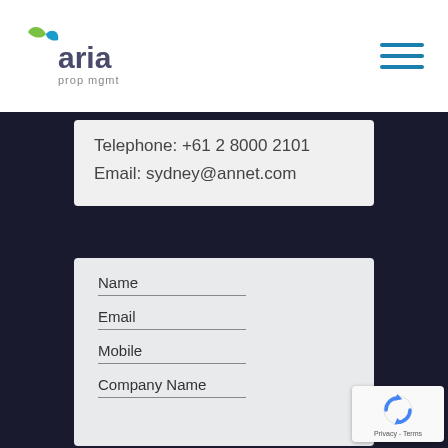[Figure (logo): Aria prop mgmt logo — green and blue leaf icon with 'aria' in blue/grey and 'prop mgmt' below]
Telephone: +61 2 8000 2101
Email: sydney@annet.com
Name
Email
Mobile
Company Name
[Figure (other): reCAPTCHA badge with rotating arrows icon and 'Privacy - Terms' text]